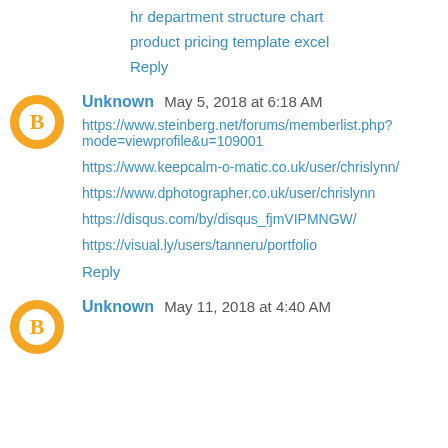hr department structure chart
product pricing template excel
Reply
Unknown May 5, 2018 at 6:18 AM
https://www.steinberg.net/forums/memberlist.php?mode=viewprofile&u=109001
https://www.keepcalm-o-matic.co.uk/user/chrislynn/
https://www.dphotographer.co.uk/user/chrislynn
https://disqus.com/by/disqus_fjmVIPMNGW/
https://visual.ly/users/tanneru/portfolio
Reply
Unknown May 11, 2018 at 4:40 AM